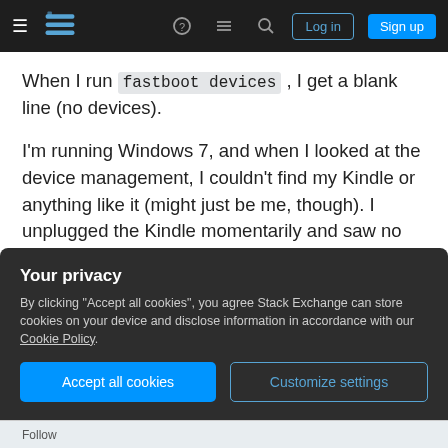Stack Exchange navigation bar with hamburger menu, logo, help, chat, search icons, Log in and Sign up buttons
When I run fastboot devices , I get a blank line (no devices).
I'm running Windows 7, and when I looked at the device management, I couldn't find my Kindle or anything like it (might just be me, though). I unplugged the Kindle momentarily and saw no change in the device list (which usually refreshes when a device is added or removed).
Any ideas on what's going wrong and what I can do
Your privacy
By clicking "Accept all cookies", you agree Stack Exchange can store cookies on your device and disclose information in accordance with our Cookie Policy.
Accept all cookies
Customize settings
Follow